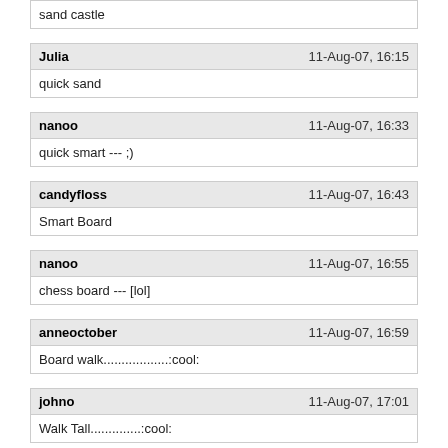sand castle
Julia  11-Aug-07, 16:15
quick sand
nanoo  11-Aug-07, 16:33
quick smart --- ;)
candyfloss  11-Aug-07, 16:43
Smart Board
nanoo  11-Aug-07, 16:55
chess board --- [lol]
anneoctober  11-Aug-07, 16:59
Board walk..................:cool:
johno  11-Aug-07, 17:01
Walk Tall..............:cool:
nanoo  11-Aug-07, 17:03
Tall Ship --- [lol] --- Grrr 60---- 25---- 2